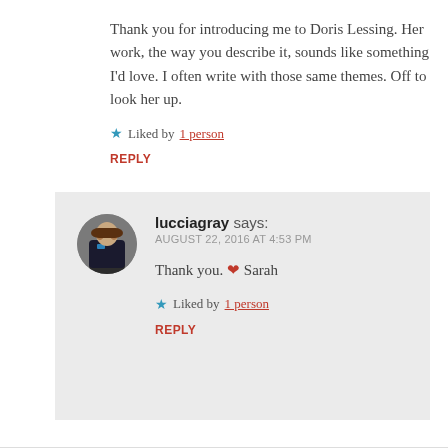Thank you for introducing me to Doris Lessing. Her work, the way you describe it, sounds like something I'd love. I often write with those same themes. Off to look her up.
★ Liked by 1 person
REPLY
lucciagray says: AUGUST 22, 2016 AT 4:53 PM
Thank you. ❤ Sarah
★ Liked by 1 person
REPLY